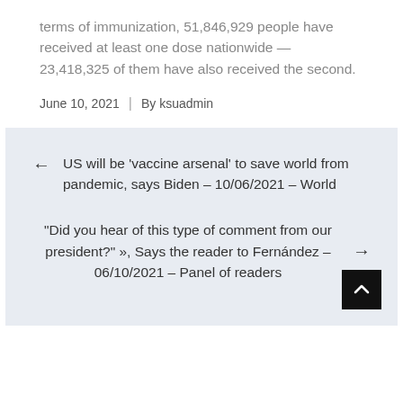terms of immunization, 51,846,929 people have received at least one dose nationwide — 23,418,325 of them have also received the second.
June 10, 2021  |  By ksuadmin
← US will be 'vaccine arsenal' to save world from pandemic, says Biden – 10/06/2021 – World
"Did you hear of this type of comment from our president?" », Says the reader to Fernández – 06/10/2021 – Panel of readers →